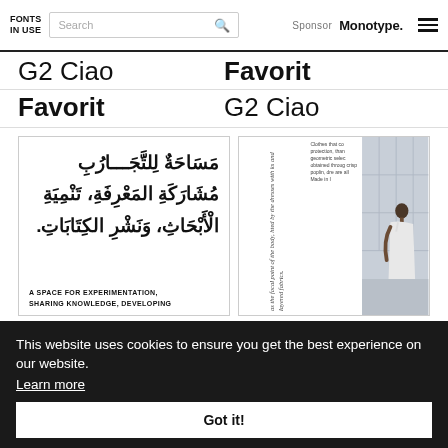FONTS IN USE | Search | Sponsor Monotype.
G2 Ciao
Favorit
Favorit
G2 Ciao
[Figure (illustration): Two thumbnail images showing typographic specimens. Left: Arabic script text reading a space for experimentation, sharing knowledge, developing. Right: Fashion magazine spread with vertical italic text about the focal point of the body and dresses, small descriptive text about clothes, and a photo of a person in a white outfit against a building.]
A SPACE FOR EXPERIMENTATION, SHARING KNOWLEDGE, DEVELOPING
Favorit
This website uses cookies to ensure you get the best experience on our website.
Learn more
Got it!